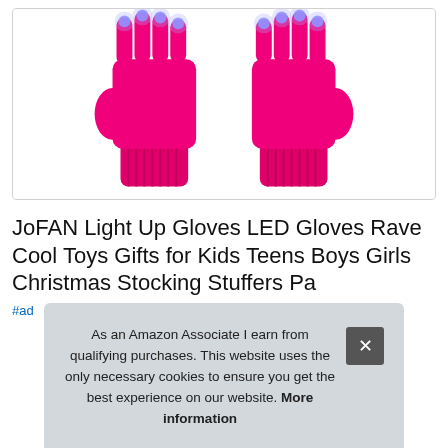[Figure (photo): Product image of two pink/magenta LED light-up gloves with blue LED lights at the fingertips, shown palm-side up on a white background.]
JoFAN Light Up Gloves LED Gloves Rave Cool Toys Gifts for Kids Teens Boys Girls Christmas Stocking Stuffers Pa
#ad
As an Amazon Associate I earn from qualifying purchases. This website uses the only necessary cookies to ensure you get the best experience on our website. More information